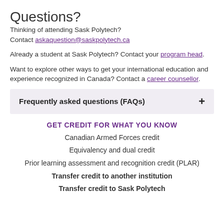Questions?
Thinking of attending Sask Polytech? Contact askaquestion@saskpolytech.ca
Already a student at Sask Polytech? Contact your program head.
Want to explore other ways to get your international education and experience recognized in Canada? Contact a career counsellor.
Frequently asked questions (FAQs)
GET CREDIT FOR WHAT YOU KNOW
Canadian Armed Forces credit
Equivalency and dual credit
Prior learning assessment and recognition credit (PLAR)
Transfer credit to another institution
Transfer credit to Sask Polytech